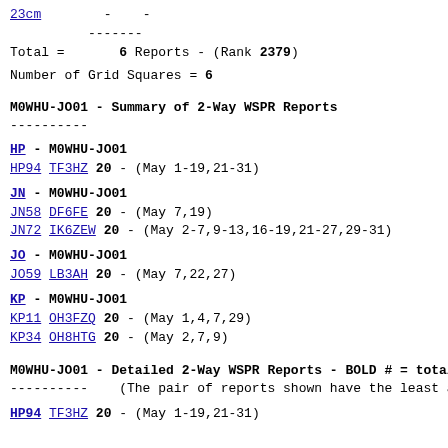23cm        -    -
-------
Total =       6 Reports - (Rank 2379)
Number of Grid Squares = 6
M0WHU-JO01 - Summary of 2-Way WSPR Reports
----------
HP - M0WHU-JO01
HP94 TF3HZ 20 - (May 1-19,21-31)
JN - M0WHU-JO01
JN58 DF6FE 20 - (May 7,19)
JN72 IK6ZEW 20 - (May 2-7,9-13,16-19,21-27,29-31)
JO - M0WHU-JO01
J059 LB3AH 20 - (May 7,22,27)
KP - M0WHU-JO01
KP11 OH3FZQ 20 - (May 1,4,7,29)
KP34 OH8HTG 20 - (May 2,7,9)
M0WHU-JO01 - Detailed 2-Way WSPR Reports - BOLD # = total
----------    (The pair of reports shown have the least an
HP94 TF3HZ 20 - (May 1-19,21-31)